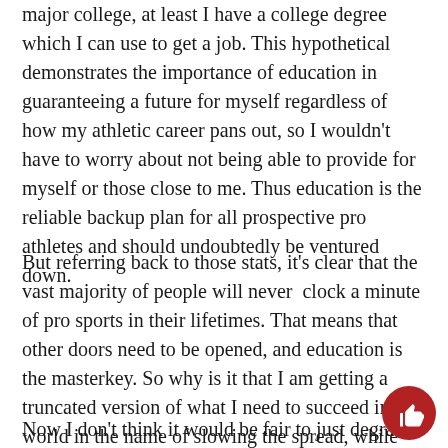major college, at least I have a college degree which I can use to get a job. This hypothetical demonstrates the importance of education in guaranteeing a future for myself regardless of how my athletic career pans out, so I wouldn't have to worry about not being able to provide for myself or those close to me. Thus education is the reliable backup plan for all prospective pro athletes and should undoubtedly be ventured down.
But referring back to those stats, it's clear that the vast majority of people will never  clock a minute of pro sports in their lifetimes. That means that other doors need to be opened, and education is the masterkey. So why is it that I am getting a truncated version of what I need to succeed in the world in the name of slowing the spread, while pro sports are played with people literally breathing on each other, which is supposed to be taboo at this point?
Now I don't think it would be fair to just degrade sports.